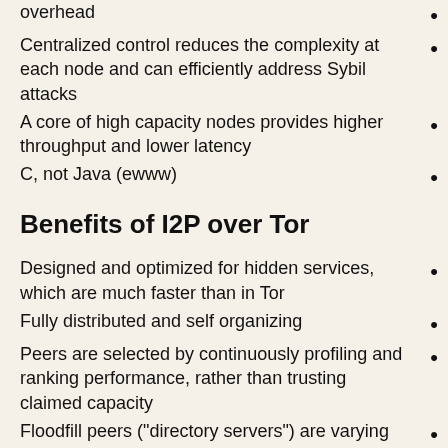overhead
Centralized control reduces the complexity at each node and can efficiently address Sybil attacks
A core of high capacity nodes provides higher throughput and lower latency
C, not Java (ewww)
Benefits of I2P over Tor
Designed and optimized for hidden services, which are much faster than in Tor
Fully distributed and self organizing
Peers are selected by continuously profiling and ranking performance, rather than trusting claimed capacity
Floodfill peers ("directory servers") are varying and untrusted, rather than hardcoded
Small enough that it hasn't been blocked or